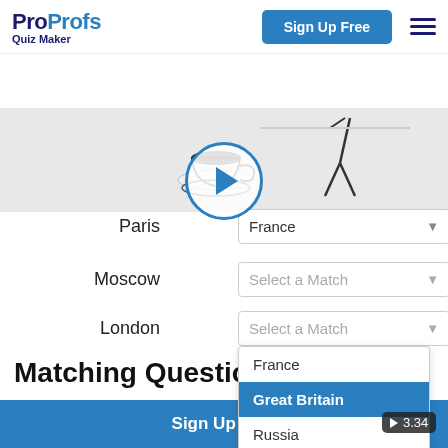ProProfs Quiz Maker | Sign Up Free
[Figure (screenshot): Screenshot of a matching question interface showing cities (Paris, Moscow, London) matched to countries (France, Great Britain, Russia) with a dropdown open showing Great Britain selected, and a video play button overlay with coffee cup illustration]
Matching Questions
Matching questions can cover a large amount of
Sign Up Free